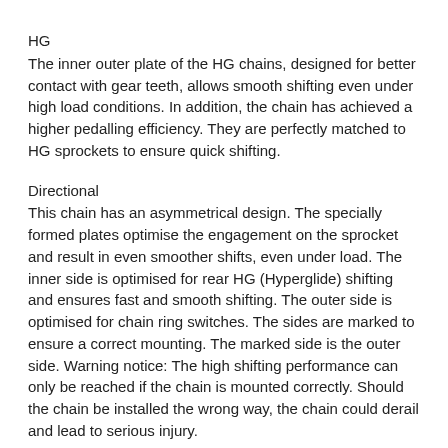HG
The inner outer plate of the HG chains, designed for better contact with gear teeth, allows smooth shifting even under high load conditions. In addition, the chain has achieved a higher pedalling efficiency. They are perfectly matched to HG sprockets to ensure quick shifting.
Directional
This chain has an asymmetrical design. The specially formed plates optimise the engagement on the sprocket and result in even smoother shifts, even under load. The inner side is optimised for rear HG (Hyperglide) shifting and ensures fast and smooth shifting. The outer side is optimised for chain ring switches. The sides are marked to ensure a correct mounting. The marked side is the outer side. Warning notice: The high shifting performance can only be reached if the chain is mounted correctly. Should the chain be installed the wrong way, the chain could derail and lead to serious injury.
Manufacturer Part Number: